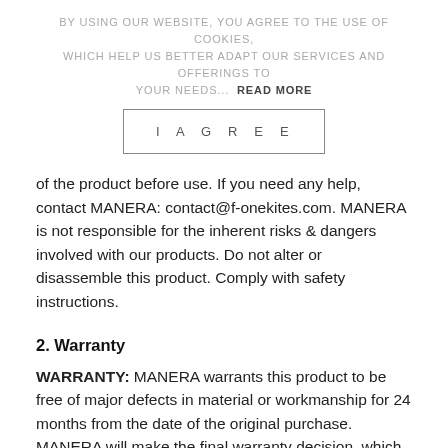BY USING OUR WEBSITE, YOU AGREE TO THE USE OF COOKIES, WHICH HELP US BETTER ADAPT OUR SERVICES AND OFFERINGS TO YOUR NEEDS... READ MORE
I AGREE
of the product before use. If you need any help, contact MANERA: contact@f-onekites.com. MANERA is not responsible for the inherent risks & dangers involved with our products. Do not alter or disassemble this product. Comply with safety instructions.
2. Warranty
WARRANTY: MANERA warrants this product to be free of major defects in material or workmanship for 24 months from the date of the original purchase. MANERA will make the final warranty decision, which may require inspection and/or photos of the equipment. FOR ALL